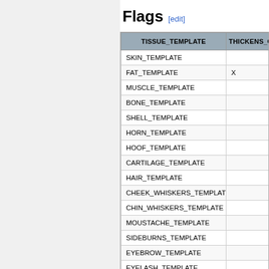Flags [edit]
| TISSUE_TEMPLATE | THICKENS_ON_ENERG... |
| --- | --- |
| SKIN_TEMPLATE |  |
| FAT_TEMPLATE | X |
| MUSCLE_TEMPLATE |  |
| BONE_TEMPLATE |  |
| SHELL_TEMPLATE |  |
| HORN_TEMPLATE |  |
| HOOF_TEMPLATE |  |
| CARTILAGE_TEMPLATE |  |
| HAIR_TEMPLATE |  |
| CHEEK_WHISKERS_TEMPLATE |  |
| CHIN_WHISKERS_TEMPLATE |  |
| MOUSTACHE_TEMPLATE |  |
| SIDEBURNS_TEMPLATE |  |
| EYEBROW_TEMPLATE |  |
| EYELASH_TEMPLATE |  |